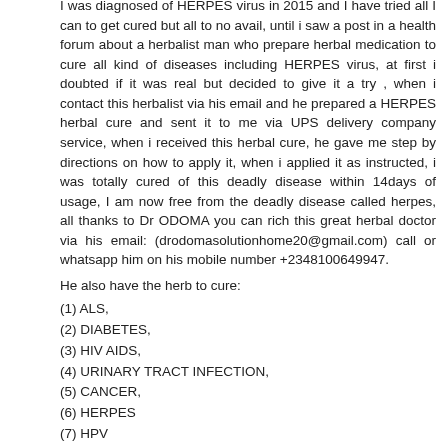I was diagnosed of HERPES virus in 2015 and I have tried all I can to get cured but all to no avail, until i saw a post in a health forum about a herbalist man who prepare herbal medication to cure all kind of diseases including HERPES virus, at first i doubted if it was real but decided to give it a try , when i contact this herbalist via his email and he prepared a HERPES herbal cure and sent it to me via UPS delivery company service, when i received this herbal cure, he gave me step by directions on how to apply it, when i applied it as instructed, i was totally cured of this deadly disease within 14days of usage, I am now free from the deadly disease called herpes, all thanks to Dr ODOMA you can rich this great herbal doctor via his email: (drodomasolutionhome20@gmail.com) call or whatsapp him on his mobile number +2348100649947.
He also have the herb to cure:
(1) ALS,
(2) DIABETES,
(3) HIV AIDS,
(4) URINARY TRACT INFECTION,
(5) CANCER,
(6) HERPES
(7) HPV